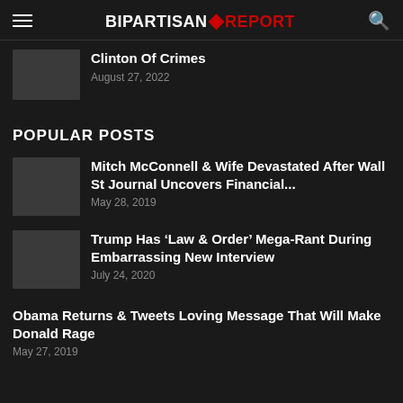BIPARTISAN REPORT
Clinton Of Crimes
August 27, 2022
POPULAR POSTS
Mitch McConnell & Wife Devastated After Wall St Journal Uncovers Financial...
May 28, 2019
Trump Has ‘Law & Order’ Mega-Rant During Embarrassing New Interview
July 24, 2020
Obama Returns & Tweets Loving Message That Will Make Donald Rage
May 27, 2019